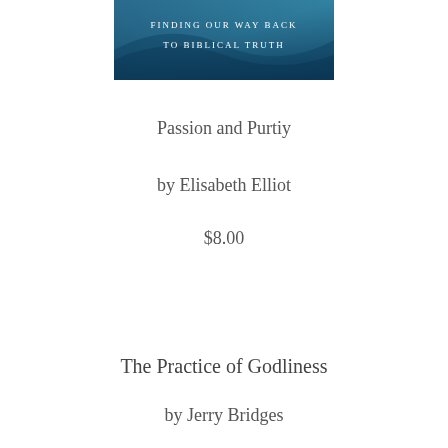[Figure (illustration): Banner image with blue/teal background and text reading 'Finding Our Way Back to Biblical Truth']
Passion and Purtiy
by Elisabeth Elliot
$8.00
The Practice of Godliness
by Jerry Bridges